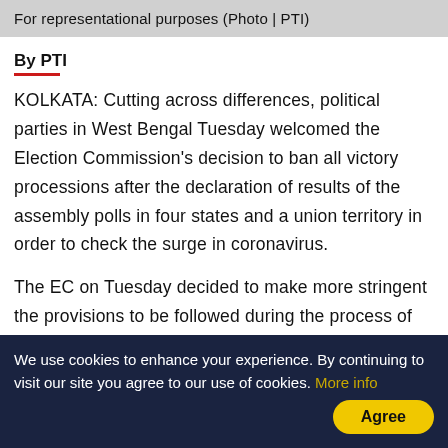For representational purposes (Photo | PTI)
By PTI
KOLKATA: Cutting across differences, political parties in West Bengal Tuesday welcomed the Election Commission's decision to ban all victory processions after the declaration of results of the assembly polls in four states and a union territory in order to check the surge in coronavirus.

The EC on Tuesday decided to make more stringent the provisions to be followed during the process of counting.
We use cookies to enhance your experience. By continuing to visit our site you agree to our use of cookies. More info  Agree